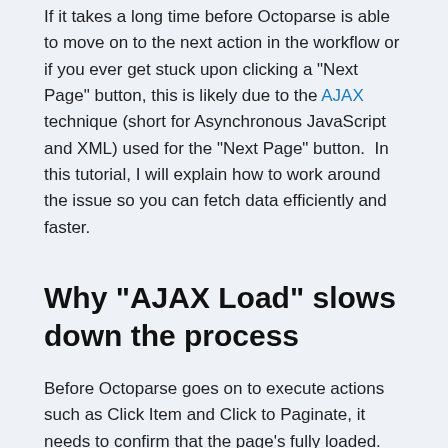If it takes a long time before Octoparse is able to move on to the next action in the workflow or if you ever get stuck upon clicking a "Next Page" button, this is likely due to the AJAX technique (short for Asynchronous JavaScript and XML) used for the "Next Page" button.  In this tutorial, I will explain how to work around the issue so you can fetch data efficiently and faster.
Why "AJAX Load" slows down the process
Before Octoparse goes on to execute actions such as Click Item and Click to Paginate, it needs to confirm that the page's fully loaded. And to do this, Octoparse takes page-reloading as the signal for when the web page is ready for the next action in the workflow. For a web page that loads with AJAX, though, the new content is usually updated